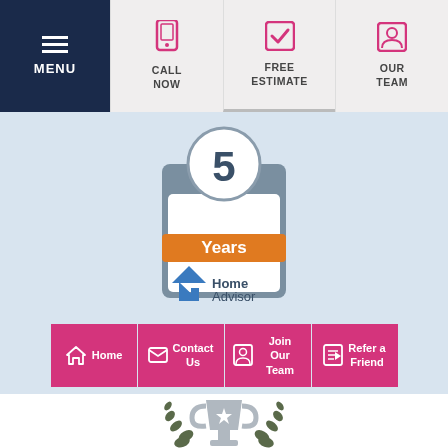MENU | CALL NOW | FREE ESTIMATE | OUR TEAM
[Figure (logo): HomeAdvisor 5 Years Screened & Approved badge/seal]
Home
Contact Us
Join Our Team
Refer a Friend
[Figure (illustration): Trophy with laurel branches icon at bottom of page]